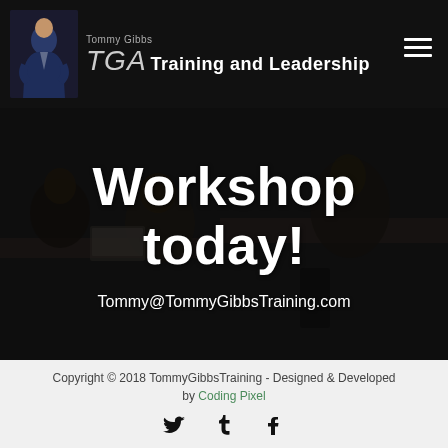[Figure (screenshot): Website header with TGA Tommy Gibbs Training and Leadership logo on dark black background, hamburger menu icon on right]
[Figure (photo): Dark background workshop scene with people at computers, overlaid with white large text 'Workshop today!' and email address Tommy@TommyGibbsTraining.com]
Copyright © 2018 TommyGibbsTraining - Designed & Developed by Coding Pixel
[Figure (infographic): Social media icons: Twitter bird, Tumblr t, Facebook f on light grey footer background]